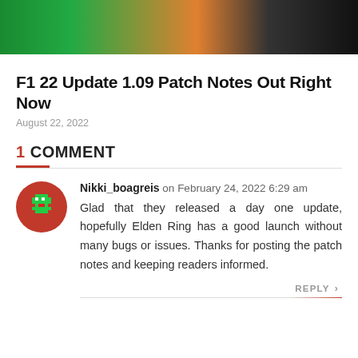[Figure (photo): Top portion of an F1 racing car with orange and black colors on a green background]
F1 22 Update 1.09 Patch Notes Out Right Now
August 22, 2022
1 COMMENT
Nikki_boagreis on February 24, 2022 6:29 am
Glad that they released a day one update, hopefully Elden Ring has a good launch without many bugs or issues. Thanks for posting the patch notes and keeping readers informed.